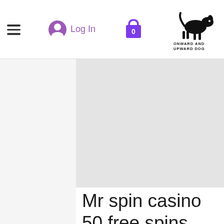☰  Log In  🛒  ONWARD AND UPWARD DOG
Mr spin casino 50 free spins
Check casino cashier to redeem this bonus. No multiple accounts or free bonuses in a row are allowed. If your last transaction was a free chip then make a deposit prior to